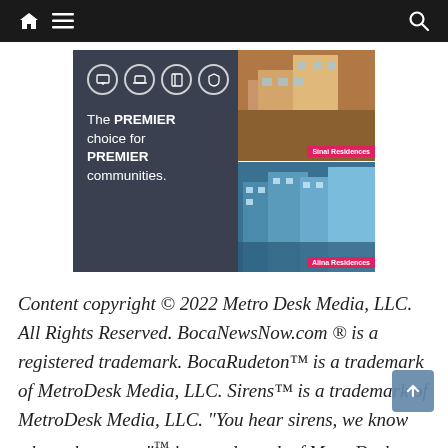Navigation bar with home, menu, and search icons
[Figure (infographic): Advertisement banner for a security/smart home product featuring icons (screen, laptop, device, shield), text reading 'The PREMIER choice for PREMIER communities.' with two real estate property photos labeled 'Sinai Residences' and 'Alina Residences' on a dark background.]
Content copyright © 2022 Metro Desk Media, LLC. All Rights Reserved. BocaNewsNow.com ® is a registered trademark. BocaRudeton™ is a trademark of MetroDesk Media, LLC. Sirens™ is a trademark of MetroDesk Media, LLC. "You hear sirens, we know where they went,"™ is a trademark of MetroDesk Media, LLC. "Don't Want To Be